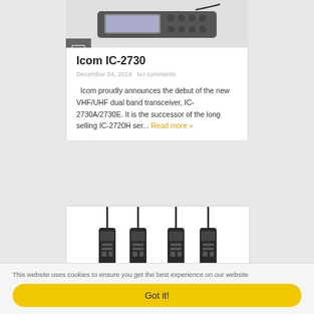[Figure (photo): Icom IC-2730 dual band transceiver radio image at top of card]
[Figure (illustration): News/article icon — grey square with document lines]
Icom IC-2730
December 04, 2014   No comments
Icom proudly announces the debut of the new VHF/UHF dual band transceiver, IC-2730A/2730E. It is the successor of the long selling IC-2720H ser... Read more »
[Figure (photo): Four black handheld walkie-talkie radios side by side]
This website uses cookies to ensure you get the best experience on our website
Got it!